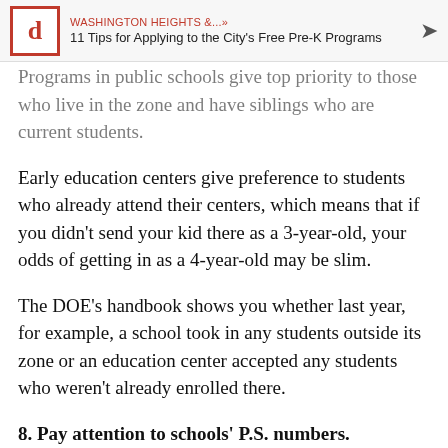WASHINGTON HEIGHTS &...» 11 Tips for Applying to the City's Free Pre-K Programs
Programs in public schools give top priority to those who live in the zone and have siblings who are current students.
Early education centers give preference to students who already attend their centers, which means that if you didn't send your kid there as a 3-year-old, your odds of getting in as a 4-year-old may be slim.
The DOE's handbook shows you whether last year, for example, a school took in any students outside its zone or an education center accepted any students who weren't already enrolled there.
8. Pay attention to schools' P.S. numbers.
Szuflita also likes to remind families that there are public